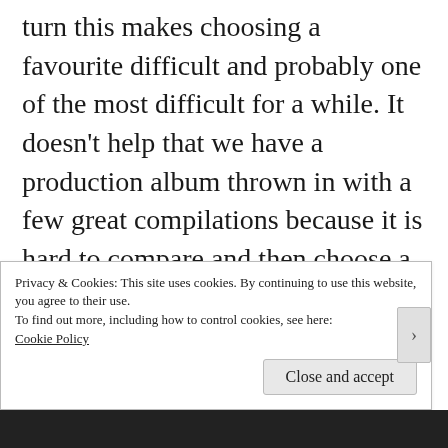turn this makes choosing a favourite difficult and probably one of the most difficult for a while. It doesn't help that we have a production album thrown in with a few great compilations because it is hard to compare and then choose a favourite when the options are so different. Balance have to have a special mention as they have two mixes in the shortlist courtesy of their two streams of mix CDs; the big brother full Balance CD from Danny Tenaglia and the
Privacy & Cookies: This site uses cookies. By continuing to use this website, you agree to their use.
To find out more, including how to control cookies, see here: Cookie Policy